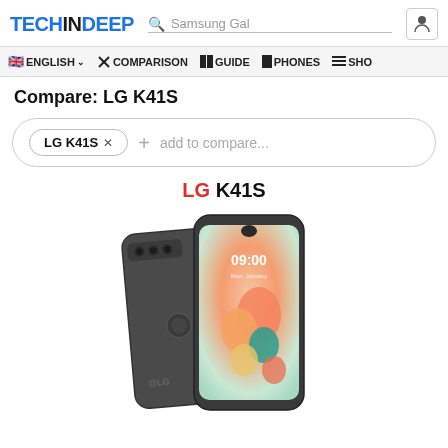TECHINDEEP — Samsung Gal (search)
ENGLISH ∨  COMPARISON  GUIDE  PHONES  SHO
Compare: LG K41S
LG K41S ×   +   add to compare...
LG K41S
[Figure (photo): LG K41S smartphone shown from back and front angle, dark gray color, with colorful lock screen wallpaper visible on the front display showing 09:00]